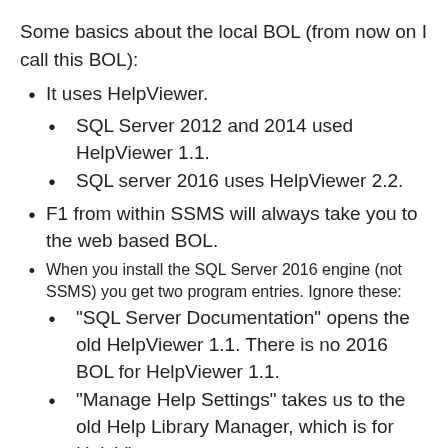Some basics about the local BOL (from now on I call this BOL):
It uses HelpViewer.
SQL Server 2012 and 2014 used HelpViewer 1.1.
SQL server 2016 uses HelpViewer 2.2.
F1 from within SSMS will always take you to the web based BOL.
When you install the SQL Server 2016 engine (not SSMS) you get two program entries. Ignore these:
“SQL Server Documentation” opens the old HelpViewer 1.1. There is no 2016 BOL for HelpViewer 1.1.
“Manage Help Settings” takes us to the old Help Library Manager, which is for HelpViewer